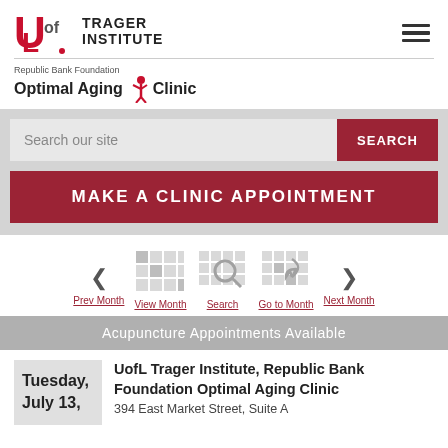[Figure (logo): UofL Trager Institute logo with red U of L graphic and bold text 'TRAGER INSTITUTE']
[Figure (logo): Republic Bank Foundation Optimal Aging Clinic logo with person icon and stylized text]
Search our site
SEARCH
MAKE A CLINIC APPOINTMENT
[Figure (screenshot): Calendar navigation bar with Prev Month, View Month, Search, Go to Month, Next Month links and grid icons]
Acupuncture Appointments Available
Tuesday, July 13,
UofL Trager Institute, Republic Bank Foundation Optimal Aging Clinic
394 East Market Street, Suite A